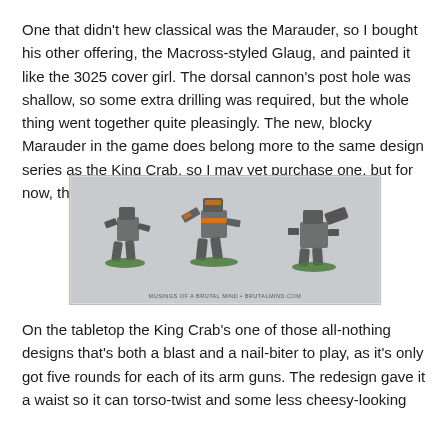One that didn't hew classical was the Marauder, so I bought his other offering, the Macross-styled Glaug, and painted it like the 3025 cover girl. The dorsal cannon's post hole was shallow, so some extra drilling was required, but the whole thing went together quite pleasingly. The new, blocky Marauder in the game does belong more to the same design series as the King Crab, so I may yet purchase one, but for now, this one's enough for me.
[Figure (photo): Three painted miniature BattleMech figures (mechs) on green bases, photographed against a light background. The figures appear to be tabletop gaming miniatures painted in grey with orange accent markings.]
On the tabletop the King Crab's one of those all-nothing designs that's both a blast and a nail-biter to play, as it's only got five rounds for each of its arm guns. The redesign gave it a waist so it can torso-twist and some less cheesy-looking